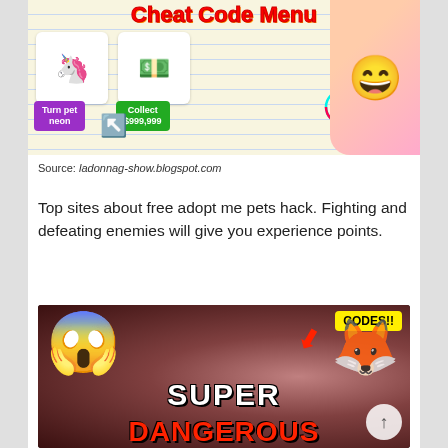[Figure (screenshot): Screenshot of a gaming thumbnail showing 'Cheat Code Menu' for Adopt Me on Roblox, with a unicorn pet, money stacks, purple 'Turn pet neon' button, green 'Collect $999,999' button, TikTok logo, and a cartoon character on the right.]
Source: ladonnag-show.blogspot.com
Top sites about free adopt me pets hack. Fighting and defeating enemies will give you experience points.
[Figure (screenshot): Gaming thumbnail showing a shocked emoji face, a red arrow, 'CODES!!' badge in yellow, a white fox/unicorn pet, text 'SUPER DANGEROUS' in white and red bold letters on a dark reddish background.]